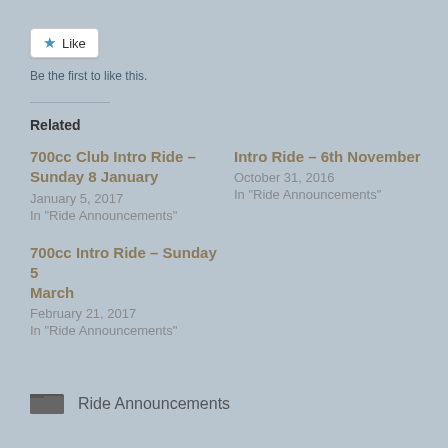[Figure (other): Like button with star icon and white background]
Be the first to like this.
Related
700cc Club Intro Ride – Sunday 8 January
January 5, 2017
In "Ride Announcements"
Intro Ride – 6th November
October 31, 2016
In "Ride Announcements"
700cc Intro Ride – Sunday 5 March
February 21, 2017
In "Ride Announcements"
Ride Announcements